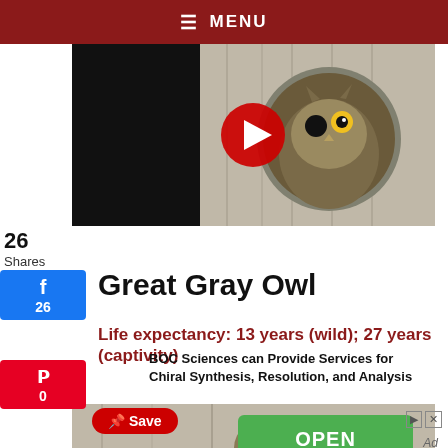≡ MENU
[Figure (photo): YouTube video thumbnail showing an owl peeking out of a wooden hole, with a YouTube play button overlay]
26
Shares
Great Gray Owl
Life expectancy: 13 years (wild); 27 years (captivity)
[Figure (photo): Bottom portion of an owl image with a Pinterest Save button overlay and an advertisement for BOC Sciences]
BOC Sciences can Provide Services for Chiral Synthesis, Resolution, and Analysis
Ad